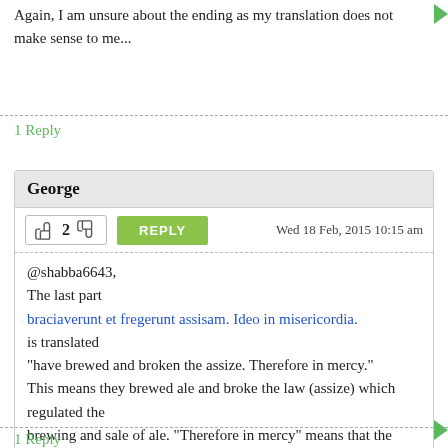Again, I am unsure about the ending as my translation does not make sense to me...
1 Reply
George
2  REPLY  Wed 18 Feb, 2015 10:15 am
@shabba6643,
The last part
braciaverunt et fregerunt assisam. Ideo in misericordia.
is translated
"have brewed and broken the assize. Therefore in mercy."
This means they brewed ale and broke the law (assize) which regulated the
brewing and sale of ale. "Therefore in mercy" means that the penalty should be moderate.
1 Reply